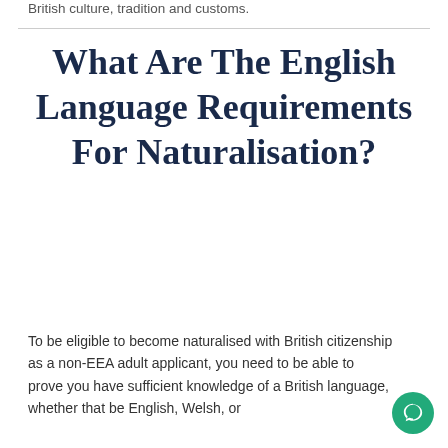British culture, tradition and customs.
What Are The English Language Requirements For Naturalisation?
To be eligible to become naturalised with British citizenship as a non-EEA adult applicant, you need to be able to prove you have sufficient knowledge of a British language, whether that be English, Welsh, or